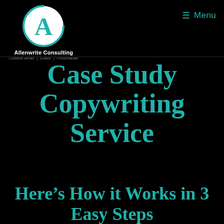[Figure (logo): Allenwrite Consulting logo: a white circle with teal letter A inside, with a teal partial arc around the circle on a black background]
Allenwrite Consulting
Content writer | Editor | Proofreader
≡ Menu
Case Study Copywriting Service
Here's How it Works in 3 Easy Steps